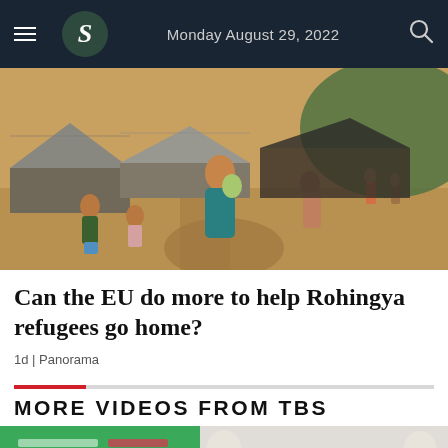Monday August 29, 2022
[Figure (photo): Rohingya refugee camp scene showing a woman holding a baby, children, and makeshift shelters along a muddy path]
Can the EU do more to help Rohingya refugees go home?
1d | Panorama
MORE VIDEOS FROM TBS
[Figure (screenshot): Bottom video strip with green and gray background with a down chevron button]